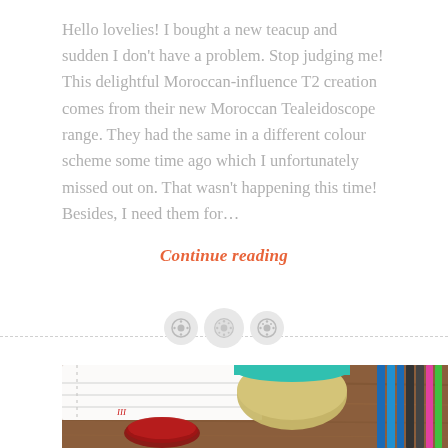Hello lovelies! I bought a new teacup and sudden I don't have a problem. Stop judging me! This delightful Moroccan-influence T2 creation comes from their new Moroccan Tealeidoscope range. They had the same in a different colour scheme some time ago which I unfortunately missed out on. That wasn't happening this time! Besides, I need them for...
Continue reading
[Figure (photo): Overhead photo of a wooden desk with a spiral notebook, a glass cup of red tea, a teal-lidded thermos/tea canister, and colored pencils/markers on the right side.]